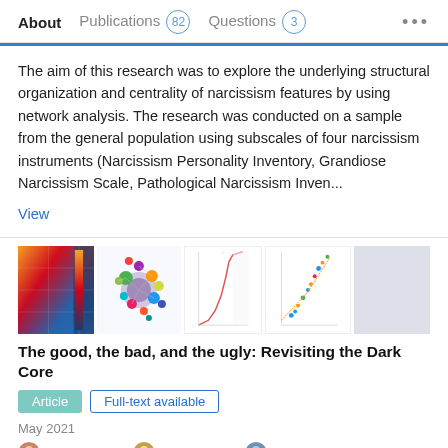About   Publications 82   Questions 3   ...
The aim of this research was to explore the underlying structural organization and centrality of narcissism features by using network analysis. The research was conducted on a sample from the general population using subscales of four narcissism instruments (Narcissism Personality Inventory, Grandiose Narcissism Scale, Pathological Narcissism Inven...
View
[Figure (other): Row of five research figure thumbnails: heatmap/correlation matrix, network graph with colored nodes, curve/line chart, scatter plot, and blank/light panel]
The good, the bad, and the ugly: Revisiting the Dark Core
Article   Full-text available
May 2021
Bojana Dinić · Anja Wertag · Valentina Sokolovska · Aleksandar Tomasevic
The aim of this research (N = 368) was to explore causal